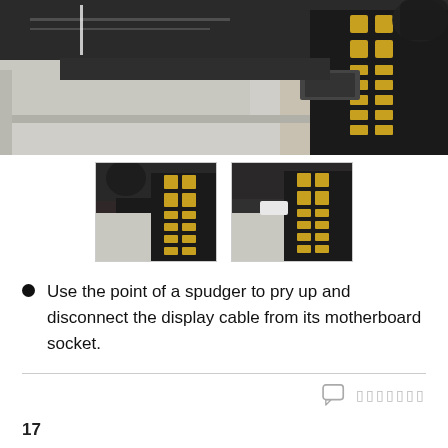[Figure (photo): Close-up photo of a laptop display cable connector being pried from a motherboard socket with a tool. Shows flex cable and circuit board with gold pads and components.]
[Figure (photo): Thumbnail photo showing display cable and motherboard connector area from a different angle.]
[Figure (photo): Thumbnail photo showing display cable disconnect step with spudger tool visible.]
Use the point of a spudger to pry up and disconnect the display cable from its motherboard socket.
comment icon with redacted text